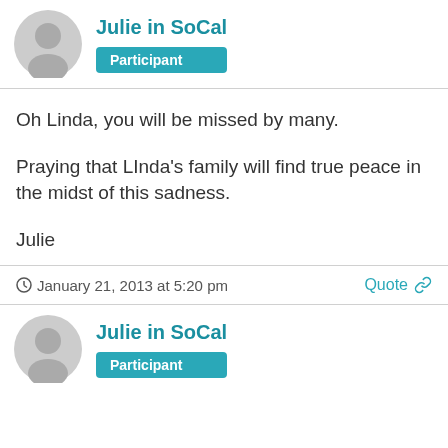Julie in SoCal
Participant
Oh Linda, you will be missed by many.

Praying that LInda's family will find true peace in the midst of this sadness.

Julie
January 21, 2013 at 5:20 pm
Quote
Julie in SoCal
Participant